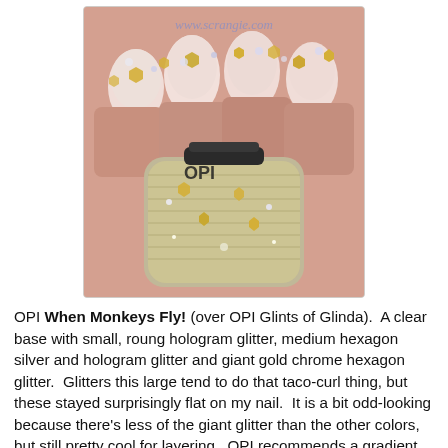[Figure (photo): Close-up photograph of nails painted with OPI When Monkeys Fly! glitter nail polish over OPI Glints of Glinda, showing gold chrome hexagon glitters and holographic glitter pieces. A bottle of the nail polish is visible in the foreground.]
OPI When Monkeys Fly! (over OPI Glints of Glinda).  A clear base with small, roung hologram glitter, medium hexagon silver and hologram glitter and giant gold chrome hexagon glitter.  Glitters this large tend to do that taco-curl thing, but these stayed surprisingly flat on my nail.  It is a bit odd-looking because there's less of the giant glitter than the other colors, but still pretty cool for layering.  OPI recommends a gradient glitter tip look with this combination:
[Figure (photo): Partial view of a second nail polish photo showing a gradient glitter tip look, partially cut off at the bottom of the page.]